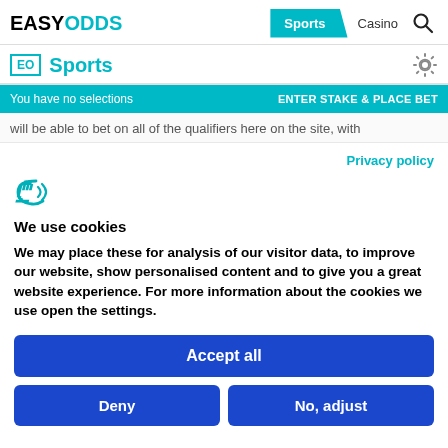EASYODDS | Sports | Casino
EO Sports
You have no selections  ENTER STAKE & PLACE BET
will be able to bet on all of the qualifiers here on the site, with
Privacy policy
[Figure (logo): Cookiebot/Cybot cookie consent logo — stylized letter C with a wifi-like arc]
We use cookies
We may place these for analysis of our visitor data, to improve our website, show personalised content and to give you a great website experience. For more information about the cookies we use open the settings.
Accept all
Deny
No, adjust